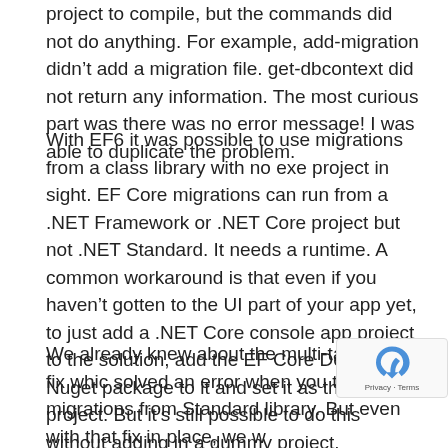project to compile, but the commands did not do anything. For example, add-migration didn't add a migration file. get-dbcontext did not return any information. The most curious part was there was no error message! I was able to duplicate the problem.
With EF6 it was possible to use migrations from a class library with no exe project in sight. EF Core migrations can run from a .NET Framework or .NET Core project but not .NET Standard. It needs a runtime. A common workaround is that even if you haven't gotten to the UI part of your app yet, to just add a .NET Core console app project to the solution, add the EF Core Design Nuget package to it and set it as the startup project. But it's still possible to do this without adding in a dummy project.
We already knew about the multi-targetting fix which solved an error when you try to run migrations from a Standard library. But even with that fix in place, we w...